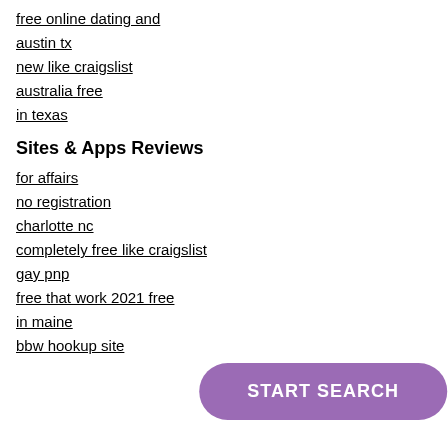free online dating and
austin tx
new like craigslist
australia free
in texas
Sites & Apps Reviews
for affairs
no registration
charlotte nc
completely free like craigslist
gay pnp
free that work 2021 free
in maine
bbw hookup site
START SEARCH